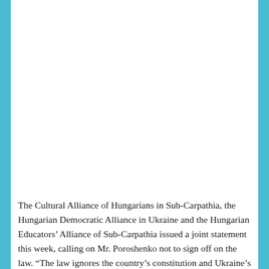The Cultural Alliance of Hungarians in Sub-Carpathia, the Hungarian Democratic Alliance in Ukraine and the Hungarian Educators' Alliance of Sub-Carpathia issued a joint statement this week, calling on Mr. Poroshenko not to sign off on the law. “The law ignores the country’s constitution and Ukraine’s international obligations, stripping minorities of